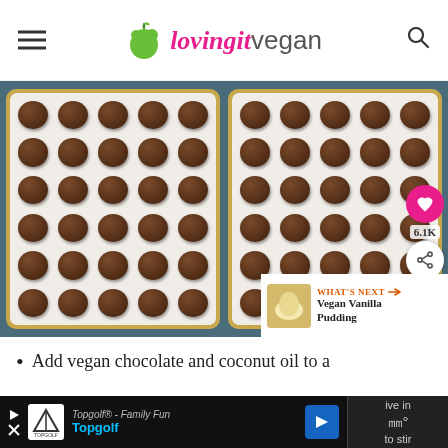loving it vegan
[Figure (photo): Two baking trays lined with parchment paper, each holding rows of dark chocolate cookie dough balls arranged in a 5x6 grid pattern, placed on a blue surface. Social share buttons and a 'What's Next: Vegan Vanilla Pudding' overlay appear on the right side.]
Add vegan chocolate and coconut oil to a
Topgolf® - Family Fun  Topgolf  [advertisement]  ive in  ℃  to stir